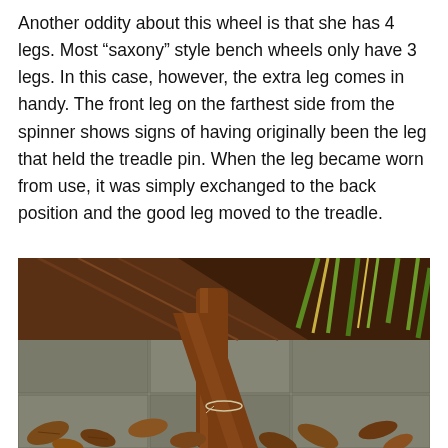Another oddity about this wheel is that she has 4 legs. Most “saxony” style bench wheels only have 3 legs. In this case, however, the extra leg comes in handy. The front leg on the farthest side from the spinner shows signs of having originally been the leg that held the treadle pin. When the leg became worn from use, it was simply exchanged to the back position and the good leg moved to the treadle.
[Figure (photo): Close-up photograph of wooden spinning wheel legs resting on stone pavers, surrounded by green grass blades and dry brown fallen leaves. The wood is dark reddish-brown in color.]